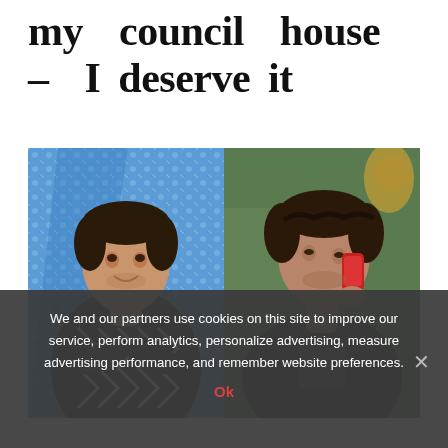my council house – I deserve it
[Figure (photo): Two side-by-side photos of a man: left photo shows him posing with arms crossed in a patterned black and white shirt against a sparkly blue background (Strictly Come Dancing style); right photo shows him talking on a red phone in what appears to be a TV soap opera scene with a green wall background.]
We and our partners use cookies on this site to improve our service, perform analytics, personalize advertising, measure advertising performance, and remember website preferences.
Ok